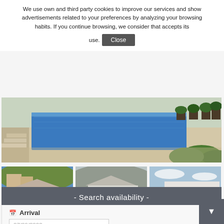We use own and third party cookies to improve our services and show advertisements related to your preferences by analyzing your browsing habits. If you continue browsing, we consider that accepts its use.
[Figure (photo): Aerial view of a villa with a rectangular blue swimming pool surrounded by Mediterranean landscaping and stone terrace]
[Figure (photo): White modern villa with pool, hillside setting, outdoor dining area]
[Figure (photo): White modern villa with pool, slightly faded/transparent appearance]
[Figure (photo): White modern villa exterior with large swimming pool and sun loungers]
- Search availability -
Arrival
07/09/2022